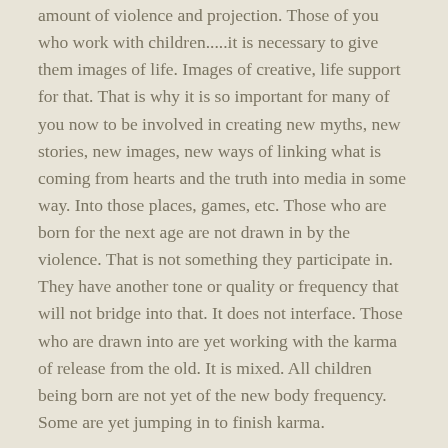amount of violence and projection. Those of you who work with children.....it is necessary to give them images of life. Images of creative, life support for that. That is why it is so important for many of you now to be involved in creating new myths, new stories, new images, new ways of linking what is coming from hearts and the truth into media in some way. Into those places, games, etc. Those who are born for the next age are not drawn in by the violence. That is not something they participate in. They have another tone or quality or frequency that will not bridge into that. It does not interface. Those who are drawn into are yet working with the karma of release from the old. It is mixed. All children being born are not yet of the new body frequency. Some are yet jumping in to finish karma.
HOW OLD ARE THE OLDEST OF THE INDIGO CHILDREN?
A few came in earlier than others, which is the way it works